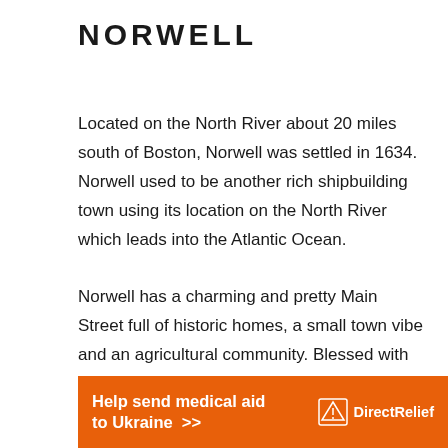NORWELL
Located on the North River about 20 miles south of Boston, Norwell was settled in 1634. Norwell used to be another rich shipbuilding town using its location on the North River which leads into the Atlantic Ocean.
Norwell has a charming and pretty Main Street full of historic homes, a small town vibe and an agricultural community. Blessed with many ponds and preservation areas, Norwell is also great for outdoor activities.
[Figure (other): Orange advertisement banner reading 'Help send medical aid to Ukraine >>' with DirectRelief logo on the right]